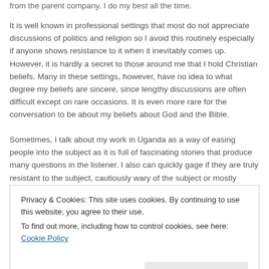from the parent company. I do my best all the time.
It is well known in professional settings that most do not appreciate discussions of politics and religion so I avoid this routinely especially if anyone shows resistance to it when it inevitably comes up. However, it is hardly a secret to those around me that I hold Christian beliefs. Many in these settings, however, have no idea to what degree my beliefs are sincere, since lengthy discussions are often difficult except on rare occasions. It is even more rare for the conversation to be about my beliefs about God and the Bible.
Sometimes, I talk about my work in Uganda as a way of easing people into the subject as it is full of fascinating stories that produce many questions in the listener. I also can quickly gage if they are truly resistant to the subject, cautiously wary of the subject or mostly
Privacy & Cookies: This site uses cookies. By continuing to use this website, you agree to their use.
To find out more, including how to control cookies, see here: Cookie Policy
Close and accept